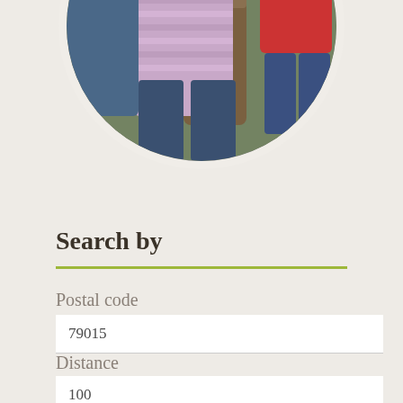[Figure (photo): Circular cropped family photo showing people outdoors near driftwood/logs. One person wearing a purple/lavender striped shirt in center, another person in a red shirt on the right. The photo is cropped within a circular frame with a light border.]
Search by
Postal code
79015
Distance
100